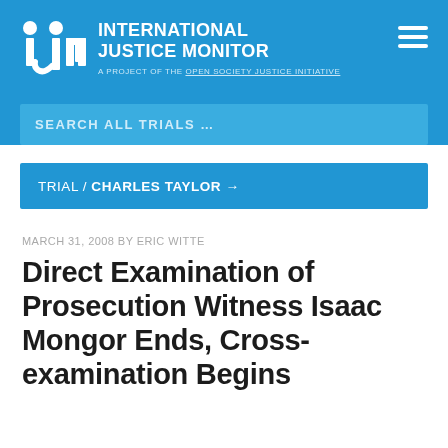INTERNATIONAL JUSTICE MONITOR — A PROJECT OF THE OPEN SOCIETY JUSTICE INITIATIVE
SEARCH ALL TRIALS …
TRIAL / CHARLES TAYLOR →
MARCH 31, 2008 by ERIC WITTE
Direct Examination of Prosecution Witness Isaac Mongor Ends, Cross-examination Begins